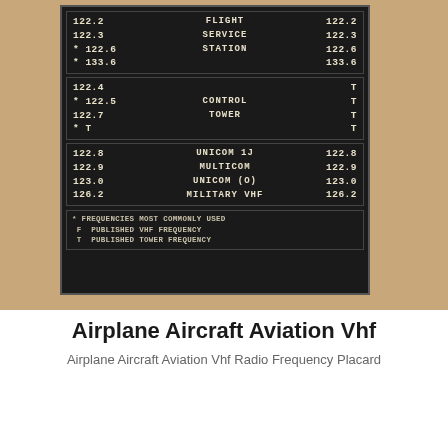[Figure (photo): Photograph of an aviation VHF radio frequency placard mounted on an aircraft. The black placard shows frequency listings in white text on black background with a tan/beige wall behind it. Sections include: Flight Service Station (122.2, 122.3, *122.6, *133.6 on left and right); Control Tower (122.4, *122.5, 122.7, *T on left, T, T, T, T on right); and UNICOM/MULTICOM/MILITARY VHF (122.8 UNICOM 1J, 122.9 MULTICOM, 123.0 UNICOM (O), 126.2 MILITARY VHF). Footnotes: * FREQUENCIES MOST COMMONLY USED, F PUBLISHED VHF FREQUENCY, T PUBLISHED TOWER FREQUENCY.]
Airplane Aircraft Aviation Vhf
Airplane Aircraft Aviation Vhf Radio Frequency Placard